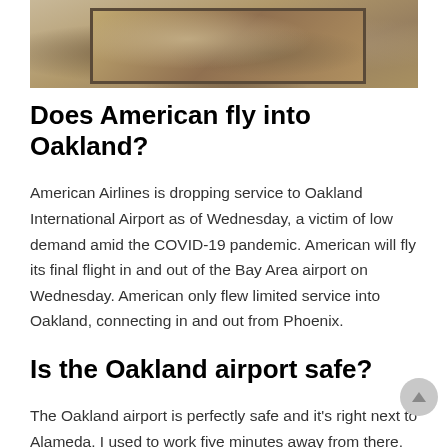[Figure (photo): Framed artwork or photograph mounted on a wall, partially visible at the top of the page]
Does American fly into Oakland?
American Airlines is dropping service to Oakland International Airport as of Wednesday, a victim of low demand amid the COVID-19 pandemic. American will fly its final flight in and out of the Bay Area airport on Wednesday. American only flew limited service into Oakland, connecting in and out from Phoenix.
Is the Oakland airport safe?
The Oakland airport is perfectly safe and it's right next to Alameda. I used to work five minutes away from there.